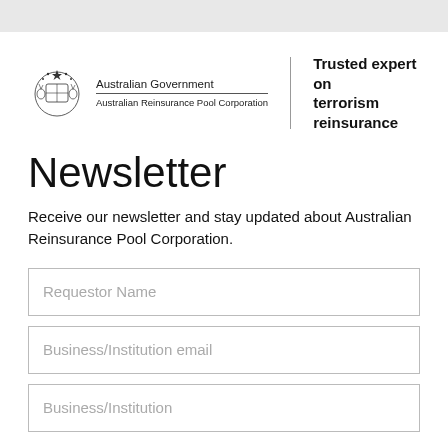[Figure (logo): Australian Government coat of arms logo with text 'Australian Government' and 'Australian Reinsurance Pool Corporation', alongside tagline 'Trusted expert on terrorism reinsurance']
Newsletter
Receive our newsletter and stay updated about Australian Reinsurance Pool Corporation.
Requestor Name
Business/Institution email
Business/Institution